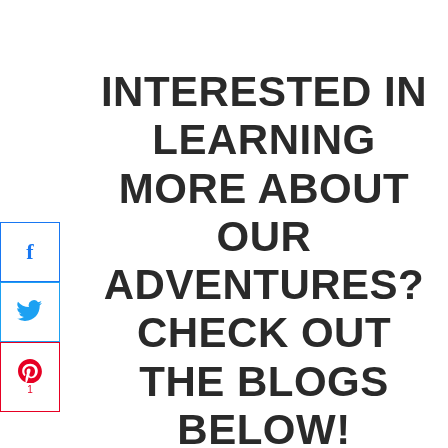INTERESTED IN LEARNING MORE ABOUT OUR ADVENTURES? CHECK OUT THE BLOGS BELOW!
[Figure (infographic): Social share buttons: Facebook (blue border, f icon), Twitter (blue border, bird icon), Pinterest (red border, P icon, count 1)]